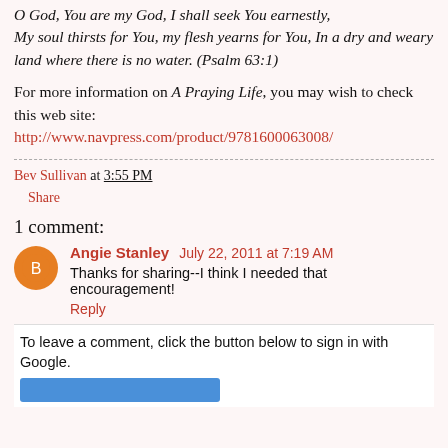O God, You are my God, I shall seek You earnestly, My soul thirsts for You, my flesh yearns for You, In a dry and weary land where there is no water. (Psalm 63:1)
For more information on A Praying Life, you may wish to check this web site: http://www.navpress.com/product/9781600063008/
Bev Sullivan at 3:55 PM
Share
1 comment:
Angie Stanley July 22, 2011 at 7:19 AM
Thanks for sharing--I think I needed that encouragement!
Reply
To leave a comment, click the button below to sign in with Google.